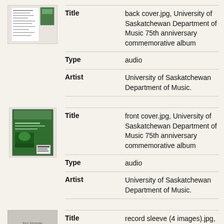[Figure (photo): Thumbnail image of back cover - small greyscale document page]
| Field | Value |
| --- | --- |
| Title | back cover.jpg, University of Saskatchewan Department of Music 75th anniversary commemorative album |
| Type | audio |
| Artist | University of Saskatchewan Department of Music. |
[Figure (photo): Thumbnail image of front cover - green and white album cover]
| Field | Value |
| --- | --- |
| Title | front cover.jpg, University of Saskatchewan Department of Music 75th anniversary commemorative album |
| Type | audio |
| Artist | University of Saskatchewan Department of Music. |
[Figure (photo): No image available placeholder thumbnail]
| Field | Value |
| --- | --- |
| Title | record sleeve (4 images).jpg, University of Saskatchewan |